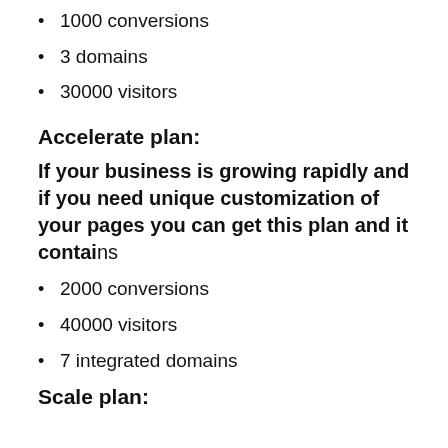1000 conversions
3 domains
30000 visitors
Accelerate plan:
If your business is growing rapidly and if you need unique customization of your pages you can get this plan and it contains
2000 conversions
40000 visitors
7 integrated domains
Scale plan: